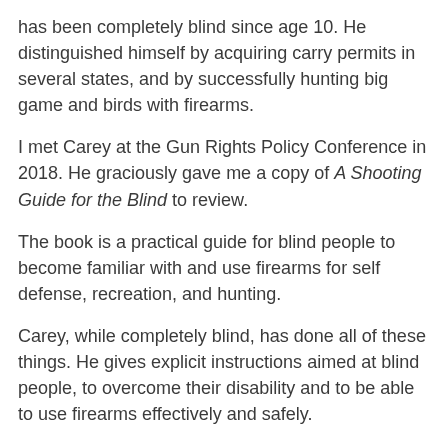has been completely blind since age 10. He distinguished himself by acquiring carry permits in several states, and by successfully hunting big game and birds with firearms.
I met Carey at the Gun Rights Policy Conference in 2018. He graciously gave me a copy of A Shooting Guide for the Blind to review.
The book is a practical guide for blind people to become familiar with and use firearms for self defense, recreation, and hunting.
Carey, while completely blind, has done all of these things. He gives explicit instructions aimed at blind people, to overcome their disability and to be able to use firearms effectively and safely.
There are a few quibbles. I disagree with Carey's reporting of a grizzly bear attack on page 28.  But then, Carey did not have the advantage of reading my research on the effectiveness of pistols for bear defense at the time he wrote this, his second book.